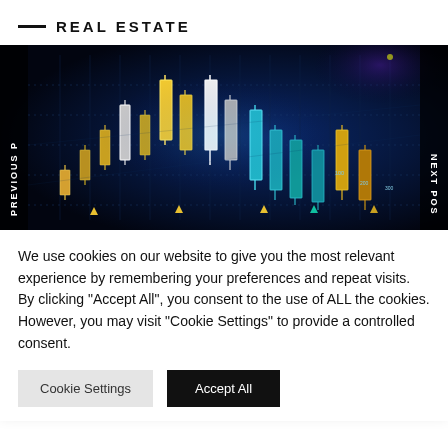REAL ESTATE
[Figure (photo): Financial candlestick chart with glowing blue and yellow candles on a dark background, representing stock or real estate market data. Navigation arrows labeled PREVIOUS P and NEXT POS are visible on the left and right sides.]
We use cookies on our website to give you the most relevant experience by remembering your preferences and repeat visits. By clicking "Accept All", you consent to the use of ALL the cookies. However, you may visit "Cookie Settings" to provide a controlled consent.
Cookie Settings  Accept All